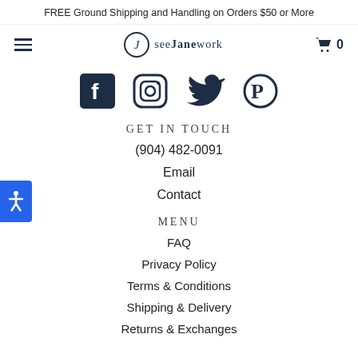FREE Ground Shipping and Handling on Orders $50 or More
[Figure (screenshot): Navigation bar with hamburger menu, seeJanework logo, and shopping cart icon showing 0]
[Figure (infographic): Social media icons row: Facebook, Instagram, Twitter, Pinterest]
GET IN TOUCH
(904) 482-0091
Email
Contact
MENU
FAQ
Privacy Policy
Terms & Conditions
Shipping & Delivery
Returns & Exchanges